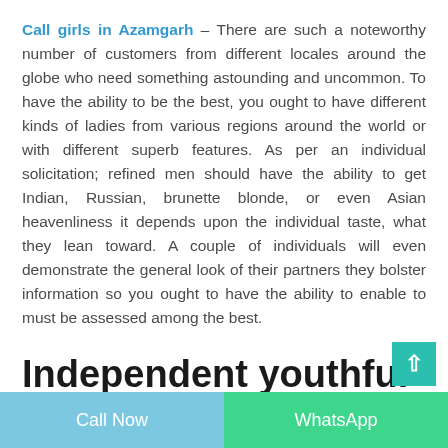Call girls in Azamgarh – There are such a noteworthy number of customers from different locales around the globe who need something astounding and uncommon. To have the ability to be the best, you ought to have different kinds of ladies from various regions around the world or with different superb features. As per an individual solicitation; refined men should have the ability to get Indian, Russian, brunette blonde, or even Asian heavenliness it depends upon the individual taste, what they lean toward. A couple of individuals will even demonstrate the general look of their partners they bolster information so you ought to have the ability to enable to must be assessed among the best.
Independent youthful school escort girls are a
Call Now | WhatsApp